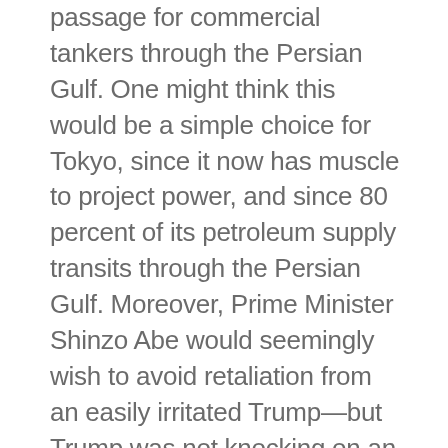passage for commercial tankers through the Persian Gulf. One might think this would be a simple choice for Tokyo, since it now has muscle to project power, and since 80 percent of its petroleum supply transits through the Persian Gulf. Moreover, Prime Minister Shinzo Abe would seemingly wish to avoid retaliation from an easily irritated Trump—but Trump was not knocking on an open door. Nearly 60 percent of the Japanese public did not see the Gulf as the best first test of their enhanced muscularity, and risk-averse Japanese politicians were uncertain how the public would react to any loss of Japanese or Iranian lives in a contingency. Nor was Japan ready to abandon its improved relations with Tehran, which it saw as the b...